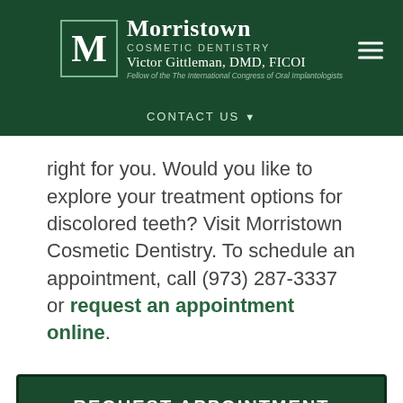[Figure (logo): Morristown Cosmetic Dentistry logo with M in a bordered box, practice name, Victor Gittleman DMD FICOI, and Fellow of the International Congress of Oral Implantologists]
CONTACT US
right for you. Would you like to explore your treatment options for discolored teeth? Visit Morristown Cosmetic Dentistry. To schedule an appointment, call (973) 287-3337 or request an appointment online.
REQUEST APPOINTMENT
FROM OUR BLOG